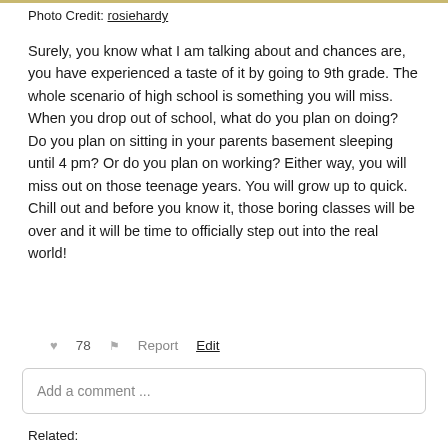Photo Credit: rosiehardy
Surely, you know what I am talking about and chances are, you have experienced a taste of it by going to 9th grade. The whole scenario of high school is something you will miss. When you drop out of school, what do you plan on doing? Do you plan on sitting in your parents basement sleeping until 4 pm? Or do you plan on working? Either way, you will miss out on those teenage years. You will grow up to quick. Chill out and before you know it, those boring classes will be over and it will be time to officially step out into the real world!
♥ 78   ⚑ Report   Edit
Add a comment ...
Related: